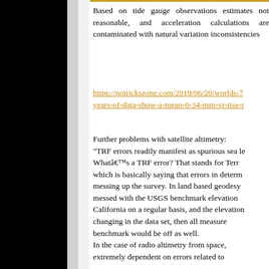Based on tide gauge observations estimates not reasonable, and acceleration calculations are contaminated with natural variations inconsistencies
https://notrickszone.com/2019/06/20/worlds-7 years-of-data-show-a-mean-0-34-mm-yr-rise-r
Further problems with satellite altimetry: "TRF errors readily manifest as spurious sea le... Whatâs a TRF error? That stands for Terr... which is basically saying that errors in determ... messing up the survey. In land based geodesy... messed with the USGS benchmark elevation... California on a regular basis, and the elevation... changing in the data set, then all measure... benchmark would be off as well.
In the case of radio altimetry from space, extremely dependent on errors related to